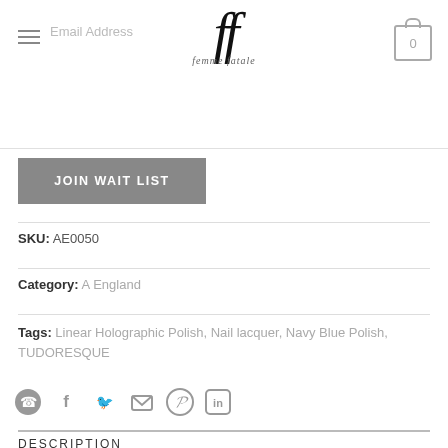ff — femme fatale logo, hamburger menu, email address field, cart icon
JOIN WAIT LIST
SKU: AE0050
Category: A England
Tags: Linear Holographic Polish, Nail lacquer, Navy Blue Polish, TUDORESQUE
[Figure (infographic): Social sharing icons: WhatsApp, Facebook, Twitter, Email, Pinterest, LinkedIn]
DESCRIPTION
ADDITIONAL INFORMATION
REVIEWS (0)